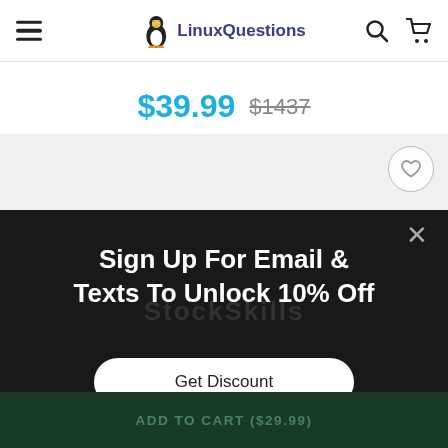LinuxQuestions navigation bar with hamburger menu, logo, search and cart icons
$39.99  $1437
[Figure (screenshot): Light gray product card area with a circular wishlist/heart button in the top right corner]
Sign Up For Email & Texts To Unlock 10% Off
Get Discount
ADD TO CART ($29.99)